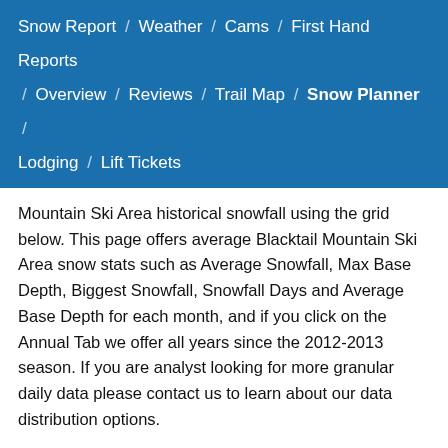Snow Report / Weather / Cams / First Hand Reports / Overview / Reviews / Trail Map / Snow Planner / Lodging / Lift Tickets
Mountain Ski Area historical snowfall using the grid below. This page offers average Blacktail Mountain Ski Area snow stats such as Average Snowfall, Max Base Depth, Biggest Snowfall, Snowfall Days and Average Base Depth for each month, and if you click on the Annual Tab we offer all years since the 2012-2013 season. If you are analyst looking for more granular daily data please contact us to learn about our data distribution options.
Monthly / Annual
Snow History